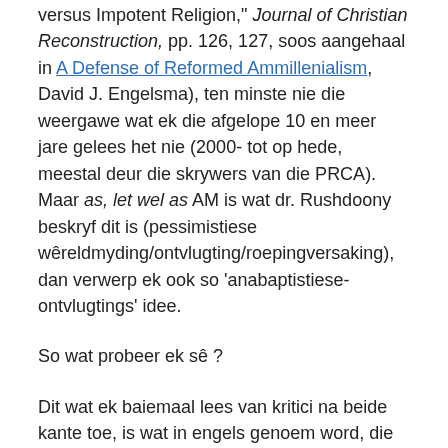versus Impotent Religion," Journal of Christian Reconstruction, pp. 126, 127, soos aangehaal in A Defense of Reformed Ammillenialism, David J. Engelsma), ten minste nie die weergawe wat ek die afgelope 10 en meer jare gelees het nie (2000- tot op hede, meestal deur die skrywers van die PRCA). Maar as, let wel as AM is wat dr. Rushdoony beskryf dit is (pessimistiese wêreldmyding/ontvlugting/roepingversaking), dan verwerp ek ook so 'anabaptistiese-ontvlugtings' idee.
So wat probeer ek sê ?
Dit wat ek baiemaal lees van kritici na beide kante toe, is wat in engels genoem word, die aanval van 'worst case scenario's', die moontlike slegste sondige idees van beide groepe.  Daarom verwerp ek saam met albei hierdie skrywers (van wie ek baie geleer het) die valse stellings